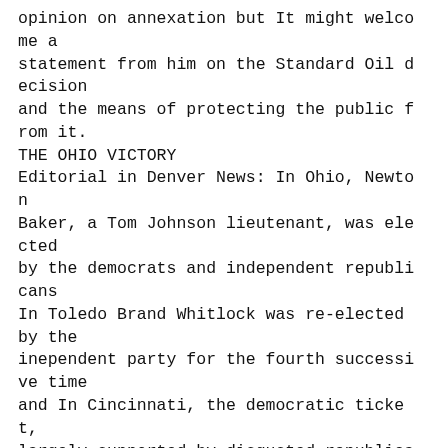opinion on annexation but It might welcome a statement from him on the Standard Oil decision and the means of protecting the public from it.
THE OHIO VICTORY
Editorial in Denver News: In Ohio, Newton Baker, a Tom Johnson lieutenant, was elected by the democrats and independent republicans In Toledo Brand Whitlock was re-elected by the inependent party for the fourth successive time and In Cincinnati, the democratic ticket, largely supported by disgusted republica